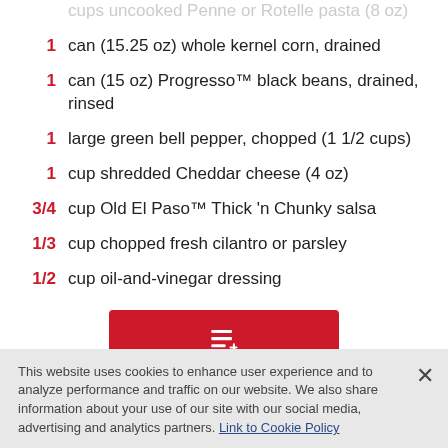cups uncooked Penne or Rotelle pasta (8 oz)
1 can (15.25 oz) whole kernel corn, drained
1 can (15 oz) Progresso™ black beans, drained, rinsed
1 large green bell pepper, chopped (1 1/2 cups)
1 cup shredded Cheddar cheese (4 oz)
3/4 cup Old El Paso™ Thick 'n Chunky salsa
1/3 cup chopped fresh cilantro or parsley
1/2 cup oil-and-vinegar dressing
[Figure (other): Red button with add-to-recipe list icon]
This website uses cookies to enhance user experience and to analyze performance and traffic on our website. We also share information about your use of our site with our social media, advertising and analytics partners. Link to Cookie Policy